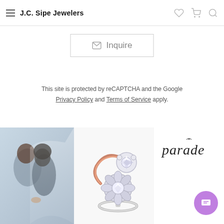J.C. Sipe Jewelers
Inquire
This site is protected by reCAPTCHA and the Google Privacy Policy and Terms of Service apply.
[Figure (photo): Couple kissing under a wedding veil, soft-focus]
[Figure (photo): Two diamond engagement rings, one rose gold with swirl setting, one white gold with floral halo]
[Figure (logo): Parade brand logo in cursive/handwritten style]